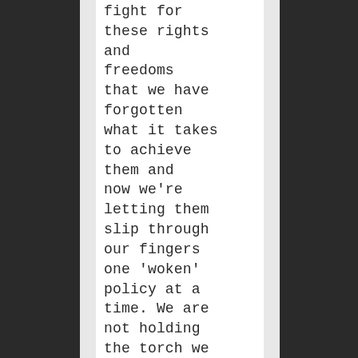fight for these rights and freedoms that we have forgotten what it takes to achieve them and now we're letting them slip through our fingers one 'woken' policy at a time. We are not holding the torch we have been entrusted to hold high but dousing